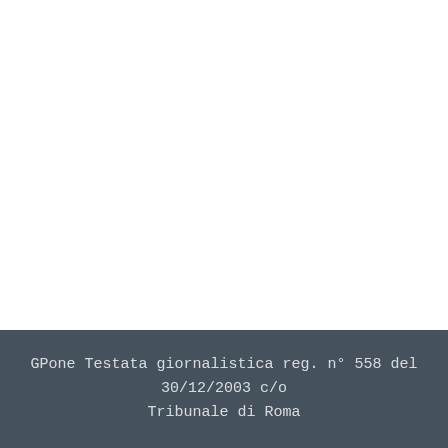GPone Testata giornalistica reg. n° 558 del 30/12/2003 c/o Tribunale di Roma